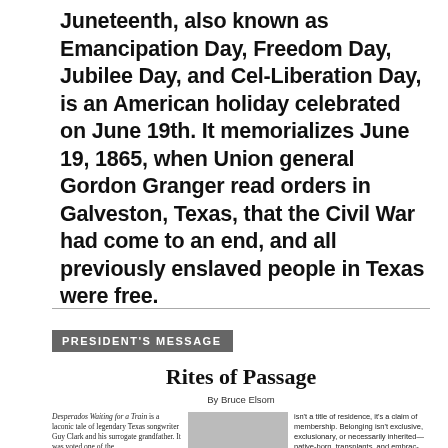Juneteenth, also known as Emancipation Day, Freedom Day, Jubilee Day, and Cel-Liberation Day, is an American holiday celebrated on June 19th. It memorializes June 19, 1865, when Union general Gordon Granger read orders in Galveston, Texas, that the Civil War had come to an end, and all previously enslaved people in Texas were free.
PRESIDENT'S MESSAGE
Rites of Passage
By Bruce Elsom
Desperados Waiting for a Train is a laconic tale of legendary Texas songwriter Guy Clark and his surrogate grandfather. It was voted one of the
[Figure (photo): Black and white portrait photo of a person]
isn't a title of residence, it's a claim of membership. Belonging isn't exclusive, exclusionary, or necessarily inherited—native-born, transplants, and embrac-